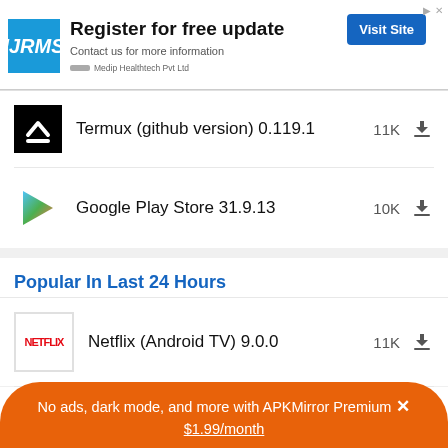[Figure (screenshot): IJRMS advertisement banner: Register for free update, Contact us for more information, Visit Site button, Medip Healthtech Pvt Ltd logo]
Termux (github version) 0.119.1  11K
Google Play Store 31.9.13  10K
Popular In Last 24 Hours
Netflix (Android TV) 9.0.0  11K
No ads, dark mode, and more with APKMirror Premium × $1.99/month